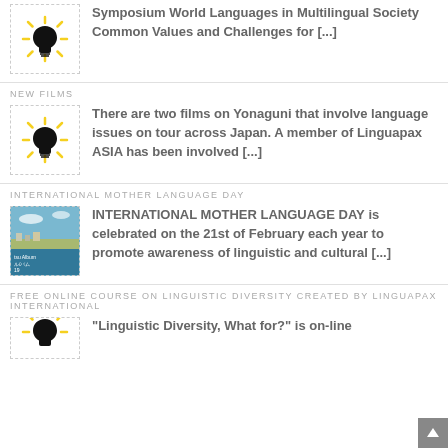[Figure (illustration): Lightbulb icon with yellow rays on dashed border thumbnail]
Symposium World Languages in Multilingual Society Common Values and Challenges for [...]
NEW FILMS
[Figure (illustration): Lightbulb icon with yellow rays on dashed border thumbnail]
There are two films on Yonaguni that involve language issues on tour across Japan. A member of Linguapax ASIA has been involved [...]
INTERNATIONAL MOTHER LANGUAGE DAY
[Figure (photo): Photo of a waterfront scene, labeled 'tsu Album' with Japanese text]
INTERNATIONAL MOTHER LANGUAGE DAY is celebrated on the 21st of February each year to promote awareness of linguistic and cultural [...]
FREE ONLINE COURSE ON LINGUISTIC DIVERSITY CREATED BY LINGUAPAX INTERNATIONAL
[Figure (illustration): Lightbulb icon with yellow rays on dashed border thumbnail (partially visible)]
"Linguistic Diversity, What for?" is on-line